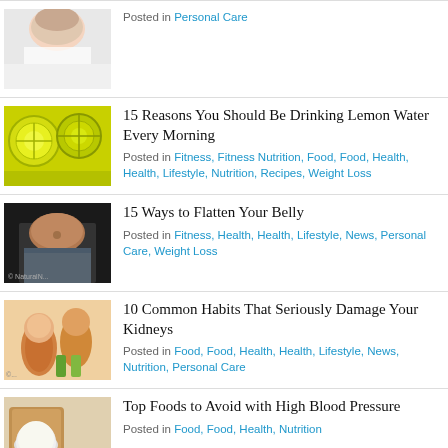Posted in Personal Care
15 Reasons You Should Be Drinking Lemon Water Every Morning
Posted in Fitness, Fitness Nutrition, Food, Food, Health, Health, Lifestyle, Nutrition, Recipes, Weight Loss
15 Ways to Flatten Your Belly
Posted in Fitness, Health, Health, Lifestyle, News, Personal Care, Weight Loss
10 Common Habits That Seriously Damage Your Kidneys
Posted in Food, Food, Health, Health, Lifestyle, News, Nutrition, Personal Care
Top Foods to Avoid with High Blood Pressure
Posted in Food, Food, Health, Nutrition
[Figure (infographic): Two advertisement banners: left green 'Organic Super C Berry Blend is packed with highly bio available', right dark 'Lab-Verified Pink']